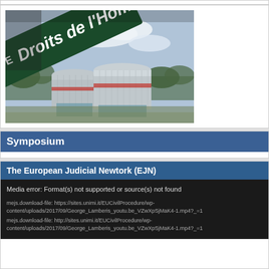[Figure (photo): Photo of the European Court of Human Rights building in Strasbourg, with a street sign in the foreground reading 'Droits de l'Homme' on a dark green background. The building features distinctive cylindrical silver-metallic towers.]
Symposium
The European Judicial Newtork (EJN)
Media error: Format(s) not supported or source(s) not found
mejs.download-file: https://sites.unimi.it/EUCivilProcedure/wp-content/uploads/2017/09/George_Lamberis_youtu.be_VZwXpSjMaK4-1.mp4?_=1
mejs.download-file: http://sites.unimi.it/EUCivilProcedure/wp-content/uploads/2017/09/George_Lamberis_youtu.be_VZwXpSjMaK4-1.mp4?_=1